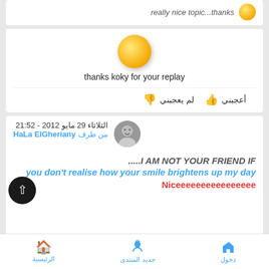[Figure (illustration): Small smiley emoji (partially visible at top) with italic text 'really nice topic...thanks']
[Figure (illustration): Yellow sun/smiley emoji above text 'thanks koky for your replay']
thanks koky for your replay
لم يعجبني  أعجبني
الثلاثاء 29 مايو 2012 - 21:52
من طرف HaLa ElGheriany
.....I AM NOT YOUR FRIEND IF you don't realise how your smile brightens up my day
Niceeeeeeeeeeeeeeee
دخول  جديد المنتدى  الرئيسية